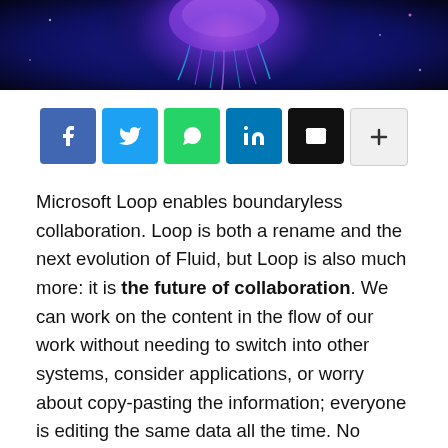[Figure (illustration): Dark blue and purple glowing jellyfish header image with cosmic/space background]
[Figure (infographic): Social sharing buttons row: Facebook (blue), Twitter (cyan), WhatsApp (green), LinkedIn (teal), Email (black), More (light gray with plus icon)]
Microsoft Loop enables boundaryless collaboration. Loop is both a rename and the next evolution of Fluid, but Loop is also much more: it is the future of collaboration. We can work on the content in the flow of our work without needing to switch into other systems, consider applications, or worry about copy-pasting the information; everyone is editing the same data all the time. No matter the application, device, or where in the Metaverse that person or application is, Loop is making the “single source of truth” paradigm a reality for Microsoft Cloud users. We aren’t fully there yet, but as always it is good to start (and practice) at a small scope and then see the whole picture unravel as more support is being added.